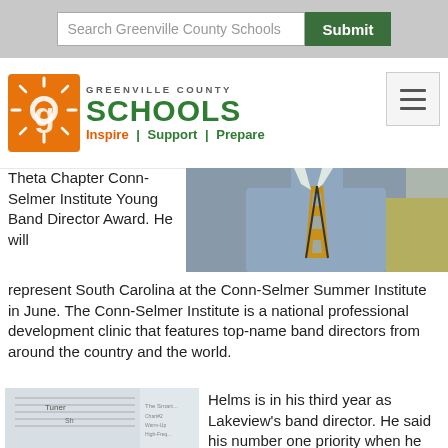Search Greenville County Schools | Submit
[Figure (logo): Greenville County Schools logo with sun icon, text 'GREENVILLE COUNTY SCHOOLS' and tagline 'Inspire | Support | Prepare']
Theta Chapter Conn-Selmer Institute Young Band Director Award. He will represent South Carolina at the Conn-Selmer Summer Institute in June. The Conn-Selmer Institute is a national professional development clinic that features top-name band directors from around the country and the world.
[Figure (photo): Photo of a man in a blue dress shirt with an orange and gray striped tie, standing in what appears to be a band room or classroom]
[Figure (photo): Photo of a young man in a blue shirt gesturing in front of a whiteboard with musical staff lines and writing]
Helms is in his third year as Lakeview's band director. He said his number one priority when he joined the